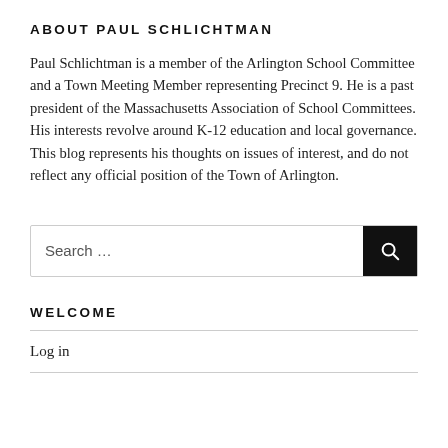ABOUT PAUL SCHLICHTMAN
Paul Schlichtman is a member of the Arlington School Committee and a Town Meeting Member representing Precinct 9. He is a past president of the Massachusetts Association of School Committees. His interests revolve around K-12 education and local governance. This blog represents his thoughts on issues of interest, and do not reflect any official position of the Town of Arlington.
[Figure (other): Search box with text 'Search …' and a black search button with magnifying glass icon]
WELCOME
Log in